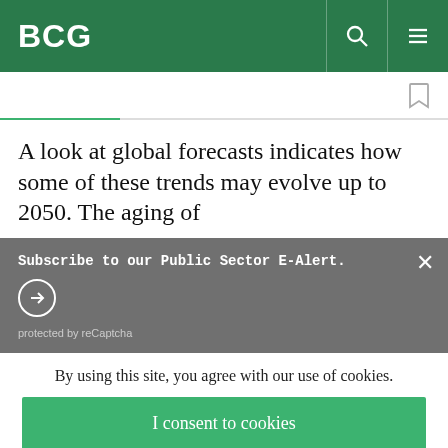BCG
A look at global forecasts indicates how some of these trends may evolve up to 2050. The aging of
Subscribe to our Public Sector E-Alert.
protected by reCaptcha
By using this site, you agree with our use of cookies.
I consent to cookies
Want to know more?
Read our Cookie Policy